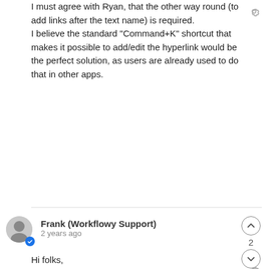I must agree with Ryan, that the other way round (to add links after the text name) is required. I believe the standard "Command+K" shortcut that makes it possible to add/edit the hyperlink would be the perfect solution, as users are already used to do that in other apps.
Frank (Workflowy Support)
2 years ago
Hi folks,

We're going to be implementing the link-editing counterpart soon: Adding links to text :-)
Girmi Schouten